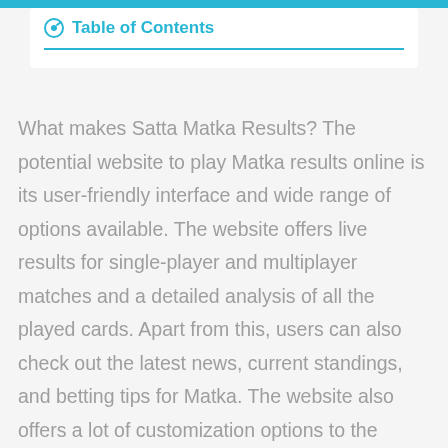Table of Contents
What makes Satta Matka Results? The potential website to play Matka results online is its user-friendly interface and wide range of options available. The website offers live results for single-player and multiplayer matches and a detailed analysis of all the played cards. Apart from this, users can also check out the latest news, current standings, and betting tips for Matka. The website also offers a lot of customization options to the users. This is quite useful for people who want to play Matka at their convenience without any distractions.